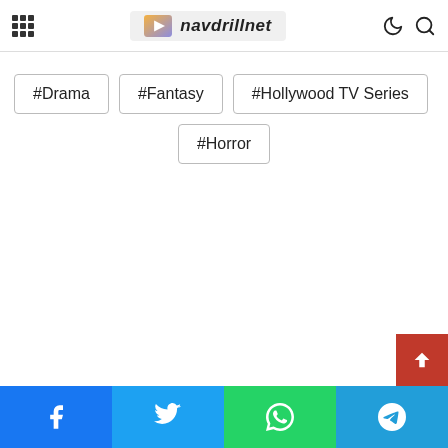navdrillnet
#Drama
#Fantasy
#Hollywood TV Series
#Horror